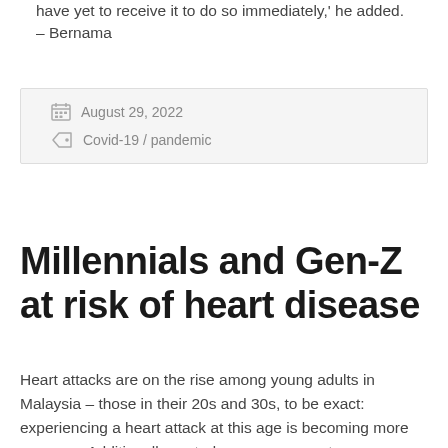have yet to receive it to do so immediately,' he added. – Bernama
August 29, 2022
Covid-19 / pandemic
Millennials and Gen-Z at risk of heart disease
Heart attacks are on the rise among young adults in Malaysia – those in their 20s and 30s, to be exact: experiencing a heart attack at this age is becoming more common. Additionally, a study on coronary artery